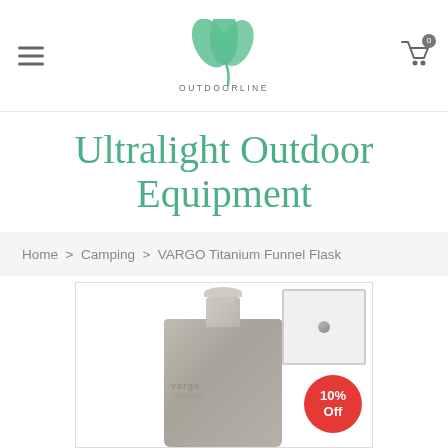OUTDOORLINE - navigation header with logo, hamburger menu, and cart icon
Ultralight Outdoor Equipment
Home > Camping > VARGO Titanium Funnel Flask
[Figure (photo): Product photo of a VARGO Titanium Funnel Flask - a flat titanium hip flask with funnel cap detail inset, showing 10% Off badge]